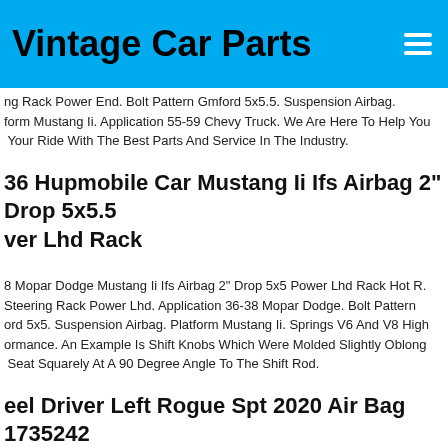Vintage Car Parts
ng Rack Power End. Bolt Pattern Gmford 5x5.5. Suspension Airbag. form Mustang Ii. Application 55-59 Chevy Truck. We Are Here To Help You Your Ride With The Best Parts And Service In The Industry.
36 Hupmobile Car Mustang Ii Ifs Airbag 2" Drop 5x5.5 ver Lhd Rack
8 Mopar Dodge Mustang Ii Ifs Airbag 2" Drop 5x5 Power Lhd Rack Hot R. Steering Rack Power Lhd. Application 36-38 Mopar Dodge. Bolt Pattern ord 5x5. Suspension Airbag. Platform Mustang Ii. Springs V6 And V8 High ormance. An Example Is Shift Knobs Which Were Molded Slightly Oblong Seat Squarely At A 90 Degree Angle To The Shift Rod.
eel Driver Left Rogue Spt 2020 Air Bag 1735242